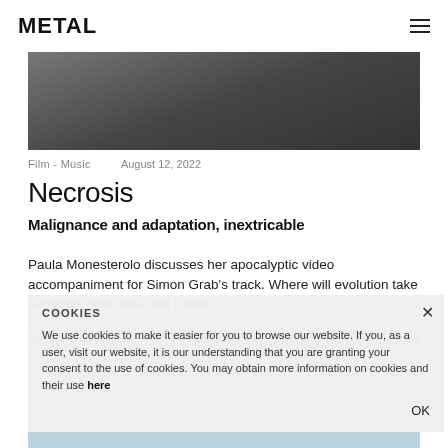METAL
[Figure (photo): Dark moody hero image showing a person in dark clothing, partially visible, with blurred background]
Film - Music    August 12, 2022
Necrosis
Malignance and adaptation, inextricable
Paula Monesterolo discusses her apocalyptic video accompaniment for Simon Grab's track. Where will evolution take humanity next, what will it birth?
[Figure (photo): Light blue background with organic circular shapes, partial view behind cookie overlay]
COOKIES

We use cookies to make it easier for you to browse our website. If you, as a user, visit our website, it is our understanding that you are granting your consent to the use of cookies. You may obtain more information on cookies and their use here

OK